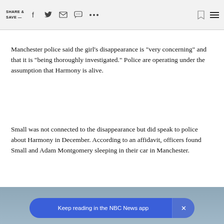SHARE & SAVE —
Manchester police said the girl's disappearance is "very concerning" and that it is "being thoroughly investigated." Police are operating under the assumption that Harmony is alive.
Small was not connected to the disappearance but did speak to police about Harmony in December. According to an affidavit, officers found Small and Adam Montgomery sleeping in their car in Manchester.
[Figure (photo): Bottom strip showing a partial image, with a blue CTA banner overlay reading 'Keep reading in the NBC News app' and an X close button.]